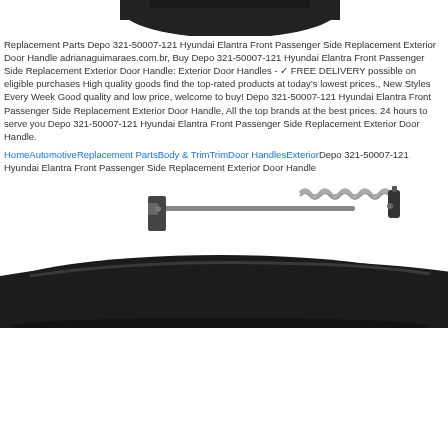[Figure (photo): Top portion of a black exterior car door handle, cropped, showing the underside/back of the handle against white background.]
Replacement Parts Depo 321-50007-121 Hyundai Elantra Front Passenger Side Replacement Exterior Door Handle adrianaguimaraes.com.br, Buy Depo 321-50007-121 Hyundai Elantra Front Passenger Side Replacement Exterior Door Handle: Exterior Door Handles - ✓ FREE DELIVERY possible on eligible purchases High quality goods find the top-rated products at today's lowest prices., New Styles Every Week Good quality and low price, welcome to buy! Depo 321-50007-121 Hyundai Elantra Front Passenger Side Replacement Exterior Door Handle, All the top brands at the best prices. 24 hours to serve you Depo 321-50007-121 Hyundai Elantra Front Passenger Side Replacement Exterior Door Handle.
HomeAutomotiveReplacement PartsBody & TrimTrimDoor HandlesExteriorDepo 321-50007-121 Hyundai Elantra Front Passenger Side Replacement Exterior Door Handle
[Figure (photo): Black exterior car door handle for Hyundai Elantra showing the mechanism side with a coil spring and metal rod assembly against a white background.]